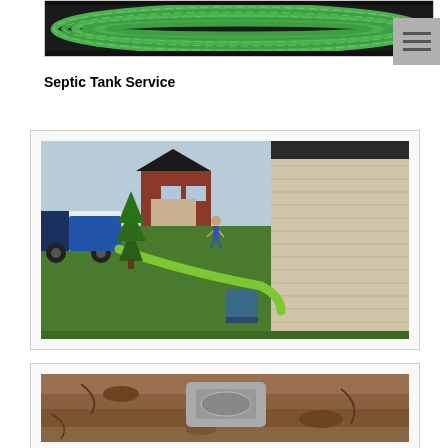[Figure (photo): Top banner showing coiled green corrugated hose/pipe on a dark background, partially cropped, with a hamburger menu button in the upper right corner]
Septic Tank Service
[Figure (photo): Outdoor scene showing a septic service truck parked in front of residential homes, with a green hose running across the lawn toward the side of a beige house. An HVAC unit is visible near the house, and evergreen trees are in the background.]
[Figure (photo): Close-up photo of an excavated septic tank or underground structure, showing a concrete or plastic tank lid/opening surrounded by brown dirt and soil.]